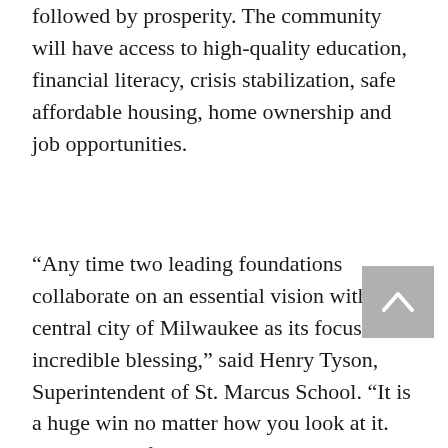followed by prosperity. The community will have access to high-quality education, financial literacy, crisis stabilization, safe affordable housing, home ownership and job opportunities.
“Any time two leading foundations collaborate on an essential vision with the central city of Milwaukee as its focus is an incredible blessing,” said Henry Tyson, Superintendent of St. Marcus School. “It is a huge win no matter how you look at it. When a lot of entities are content to turn a blind eye to what is happening in our city, Siebert and We Raise stand out in sharp contrast. We are grateful for their partnership and the impact it will have